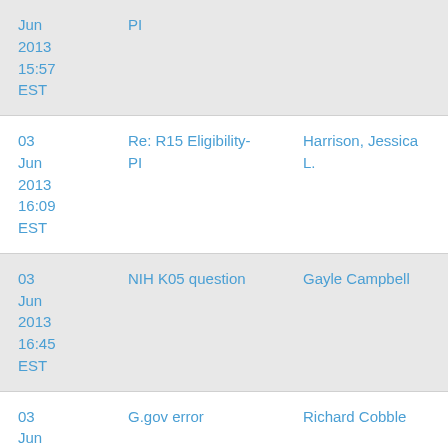| Date | Subject | Sender |
| --- | --- | --- |
| Jun 2013 15:57 EST | PI |  |
| 03 Jun 2013 16:09 EST | Re: R15 Eligibility- PI | Harrison, Jessica L. |
| 03 Jun 2013 16:45 EST | NIH K05 question | Gayle Campbell |
| 03 Jun 2013 | G.gov error | Richard Cobble |